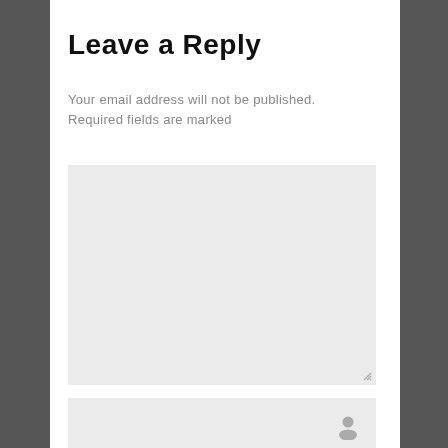Leave a Reply
Your email address will not be published. Required fields are marked
[Figure (screenshot): Empty grey textarea comment input box with resize handle in bottom right corner]
[Figure (screenshot): Empty grey input field with a person/user icon on the right side]